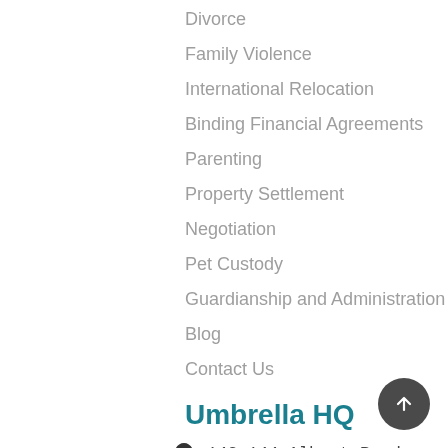Divorce
Family Violence
International Relocation
Binding Financial Agreements
Parenting
Property Settlement
Negotiation
Pet Custody
Guardianship and Administration
Blog
Contact Us
Umbrella HQ
142-144 Albert Road, South Melbourne VIC 3205
theteam@umbrellafamilylaw.com.au